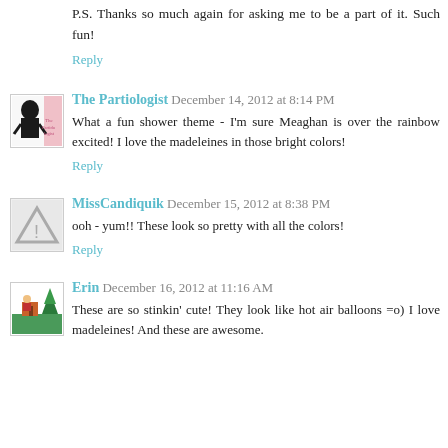P.S. Thanks so much again for asking me to be a part of it. Such fun!
Reply
The Partiologist  December 14, 2012 at 8:14 PM
What a fun shower theme - I'm sure Meaghan is over the rainbow excited! I love the madeleines in those bright colors!
Reply
MissCandiquik  December 15, 2012 at 8:38 PM
ooh - yum!! These look so pretty with all the colors!
Reply
Erin  December 16, 2012 at 11:16 AM
These are so stinkin' cute! They look like hot air balloons =o) I love madeleines! And these are awesome.